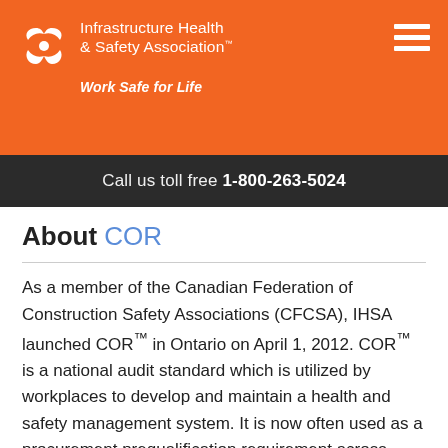[Figure (logo): Infrastructure Health & Safety Association logo with orange flower/leaf icon, white text reading 'Infrastructure Health & Safety Association™', tagline 'Work Safe for Life' in italic, and hamburger menu icon on right]
Call us toll free 1-800-263-5024
About COR
As a member of the Canadian Federation of Construction Safety Associations (CFCSA), IHSA launched COR™ in Ontario on April 1, 2012. COR™ is a national audit standard which is utilized by workplaces to develop and maintain a health and safety management system. It is now often used as a procurement prequalification requirement across Canada. Workplaces participating in this program are required to demonstrate, through a review of documentation, interviews of employees, and worksite observations, that they meet or exceed the audit requirements. For more